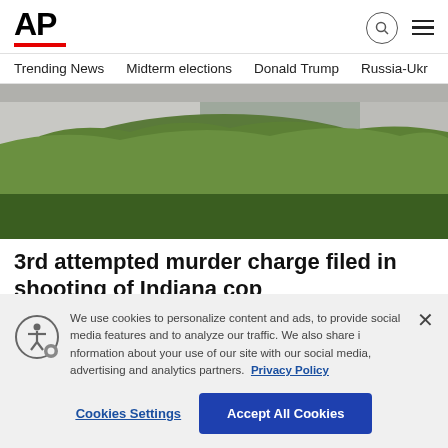AP
Trending News  Midterm elections  Donald Trump  Russia-Ukr
[Figure (photo): Close-up photo of green grass along a concrete path or sidewalk, outdoor setting]
3rd attempted murder charge filed in shooting of Indiana cop
[article text partially visible, blurred]
We use cookies to personalize content and ads, to provide social media features and to analyze our traffic. We also share information about your use of our site with our social media, advertising and analytics partners. Privacy Policy
Cookies Settings
Accept All Cookies